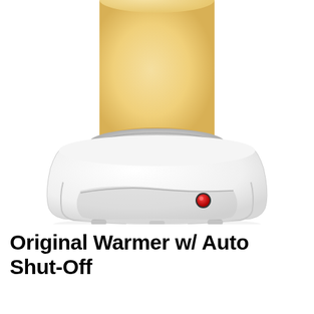[Figure (photo): Close-up photo of an electric candle warmer device. A white rounded base unit with a silver heating plate on top supports a large pale yellow pillar candle. The white base has a smooth, modern design with gray feet at the bottom and a glowing red indicator light on the front face. The background is white.]
Original Warmer w/ Auto Shut-Off